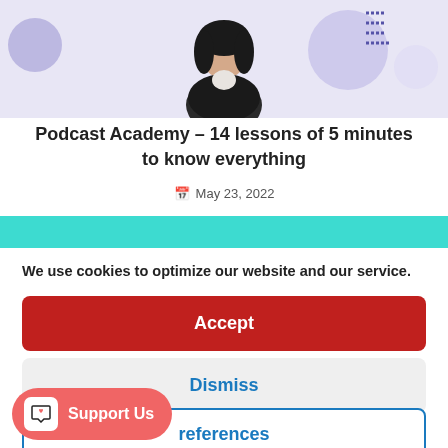[Figure (photo): Hero image with a person (woman with dark hair) and decorative purple circles on a light purple/lavender background]
Podcast Academy – 14 lessons of 5 minutes to know everything
May 23, 2022
[Figure (other): Teal/cyan horizontal bar]
We use cookies to optimize our website and our service.
Accept
Dismiss
references
Support Us